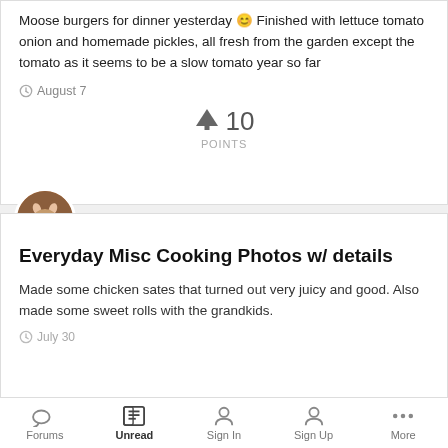Moose burgers for dinner yesterday 😊 Finished with lettuce tomato onion and homemade pickles, all fresh from the garden except the tomato as it seems to be a slow tomato year so far
August 7
10 POINTS
[Figure (photo): Circular avatar image of a hamster or small animal]
Everyday Misc Cooking Photos w/ details
Made some chicken sates that turned out very juicy and good. Also made some sweet rolls with the grandkids.
July 30
Forums | Unread | Sign In | Sign Up | More